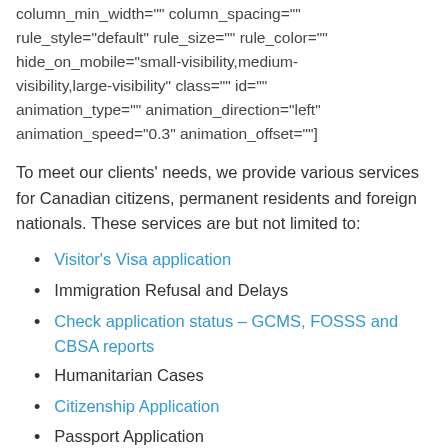column_min_width="" column_spacing="" rule_style="default" rule_size="" rule_color="" hide_on_mobile="small-visibility,medium-visibility,large-visibility" class="" id="" animation_type="" animation_direction="left" animation_speed="0.3" animation_offset=""]
To meet our clients' needs, we provide various services for Canadian citizens, permanent residents and foreign nationals. These services are but not limited to:
Visitor's Visa application
Immigration Refusal and Delays
Check application status – GCMS, FOSSS and CBSA reports
Humanitarian Cases
Citizenship Application
Passport Application